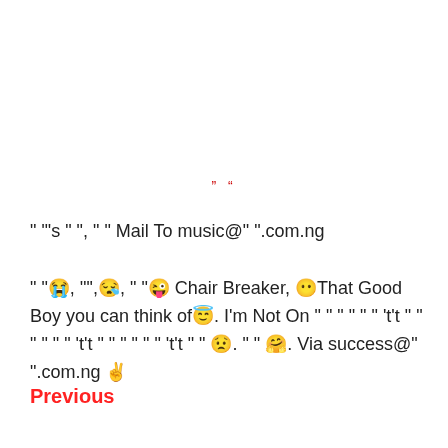" "
" "'s " ", " " Mail To music@" ".com.ng
" "😭, '"',😪, " "😜 Chair Breaker, 😶That Good Boy you can think of😇. I'm Not On " " " " " " 't't " " " " " " 't't " " " " " " 't't " " 😟. " " 🤗. Via success@" ".com.ng ✌
Previous